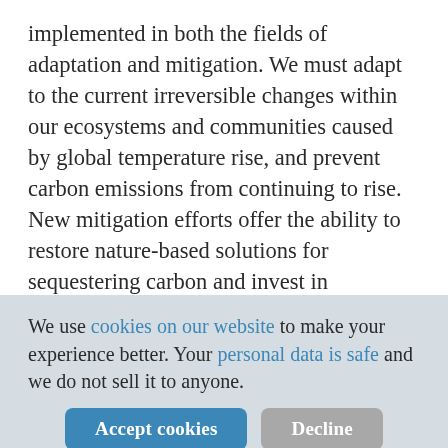implemented in both the fields of adaptation and mitigation. We must adapt to the current irreversible changes within our ecosystems and communities caused by global temperature rise, and prevent carbon emissions from continuing to rise. New mitigation efforts offer the ability to restore nature-based solutions for sequestering carbon and invest in renewable technologies. The combination of both adaptation and mitigation allows us to identify the most effective way to reach our goals and limit the
We use cookies on our website to make your experience better. Your personal data is safe and we do not sell it to anyone.